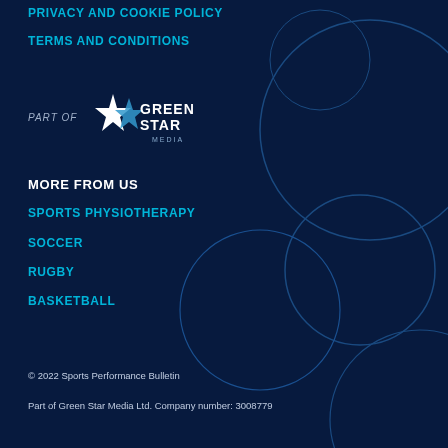PRIVACY AND COOKIE POLICY
TERMS AND CONDITIONS
[Figure (logo): PART OF Green Star Media logo]
MORE FROM US
SPORTS PHYSIOTHERAPY
SOCCER
RUGBY
BASKETBALL
© 2022 Sports Performance Bulletin
Part of Green Star Media Ltd. Company number: 3008779